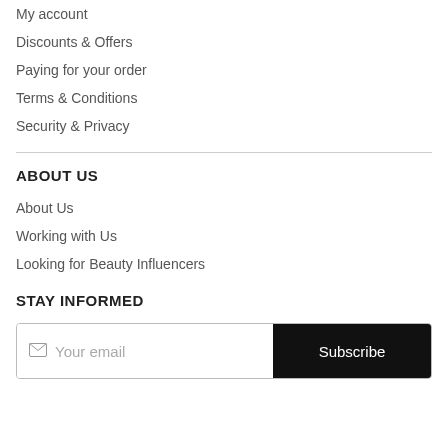My account
Discounts & Offers
Paying for your order
Terms & Conditions
Security & Privacy
ABOUT US
About Us
Working with Us
Looking for Beauty Influencers
STAY INFORMED
Your email / Subscribe